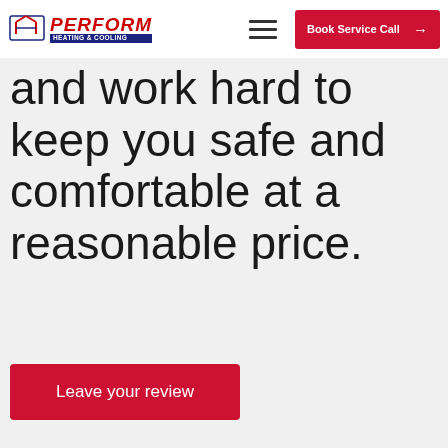Perform Heating & Cooling | Book Service Call
and work hard to keep you safe and comfortable at a reasonable price.
Leave your review